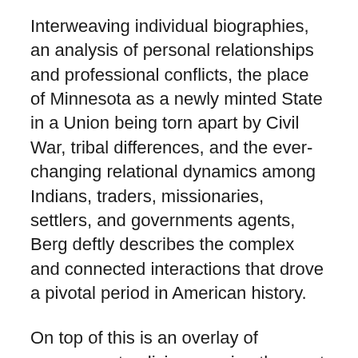Interweaving individual biographies, an analysis of personal relationships and professional conflicts, the place of Minnesota as a newly minted State in a Union being torn apart by Civil War, tribal differences, and the ever-changing relational dynamics among Indians, traders, missionaries, settlers, and governments agents, Berg deftly describes the complex and connected interactions that drove a pivotal period in American history.
On top of this is an overlay of government policies opening the west to settlement where each successive treaty and policy had the effect of disadvantaging Native tribes in relationship to their historic homelands, as well as their ability to maintain cultural and religious identities in territories rapidly being overrun by immigrant settlers from the eastern states and Europe. Readers will gain a deep understanding of the issues, responsibilities, conflicts that...